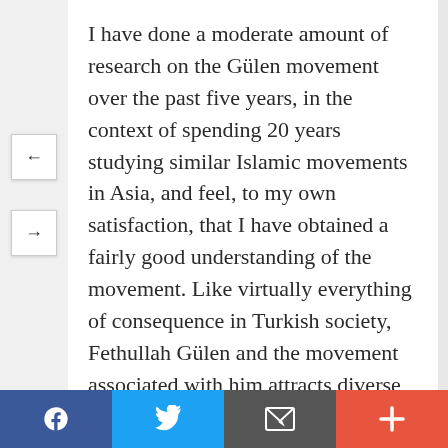I have done a moderate amount of research on the Gülen movement over the past five years, in the context of spending 20 years studying similar Islamic movements in Asia, and feel, to my own satisfaction, that I have obtained a fairly good understanding of the movement. Like virtually everything of consequence in Turkish society, Fethullah Gülen and the movement associated with him attracts diverse responses from a nation still recovering from a turbulent history marked by deep polarization. The ultranationalist right, including elements of the military, views civil-sphere movements in general, and religion-based movements in particular
f  [twitter]  [email]  +